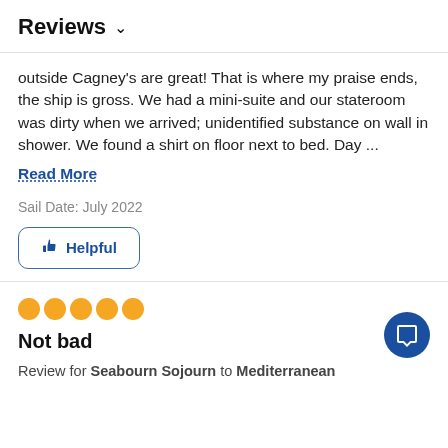Reviews ∨
outside Cagney's are great! That is where my praise ends, the ship is gross. We had a mini-suite and our stateroom was dirty when we arrived; unidentified substance on wall in shower. We found a shirt on floor next to bed. Day ...
Read More
Sail Date: July 2022
Helpful
[Figure (other): 5 orange filled circles representing a star rating]
Not bad
Review for Seabourn Sojourn to Mediterranean